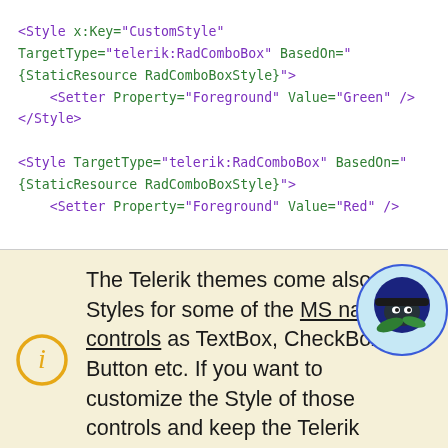<Style x:Key="CustomStyle" TargetType="telerik:RadComboBox" BasedOn="{StaticResource RadComboBoxStyle}">
    <Setter Property="Foreground" Value="Green" />
</Style>

<Style TargetType="telerik:RadComboBox" BasedOn="{StaticResource RadComboBoxStyle}">
    <Setter Property="Foreground" Value="Red" />
The Telerik themes come also with Styles for some of the MS native controls as TextBox, CheckBox, Button etc. If you want to customize the Style of those controls and keep the Telerik theming you can use the same principle as in Example1.